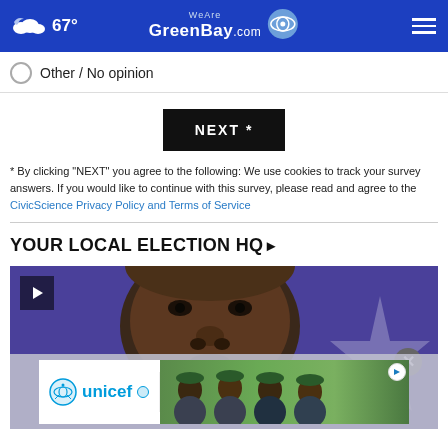67° WeAreGreenBay.com
Other / No opinion
NEXT *
* By clicking "NEXT" you agree to the following: We use cookies to track your survey answers. If you would like to continue with this survey, please read and agree to the CivicScience Privacy Policy and Terms of Service
YOUR LOCAL ELECTION HQ ❯
[Figure (photo): Close-up video thumbnail of a man's face with blue/purple background featuring a star, with a UNICEF advertisement overlay at the bottom and a play button in the top left corner.]